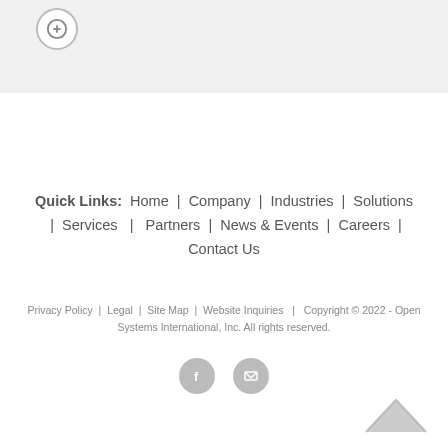[Figure (logo): Circular logo icon in top left corner]
Quick Links:  Home  |  Company  |  Industries  |  Solutions  |  Services  |  Partners  |  News & Events  |  Careers  |  Contact Us
Privacy Policy  |  Legal  |  Site Map  |  Website Inquiries  |  Copyright © 2022 - Open Systems International, Inc. All rights reserved.
[Figure (illustration): Social media icons: Facebook and Email/envelope icons]
[Figure (illustration): Back to top arrow/chevron icon in bottom right]